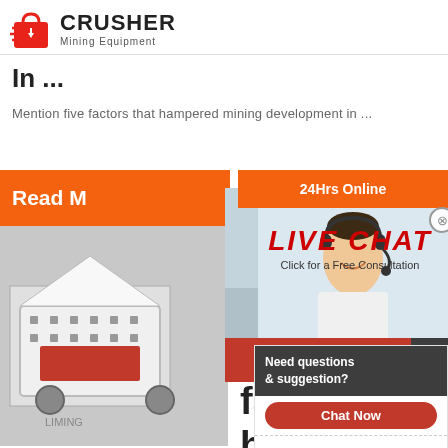[Figure (logo): Red shopping bag with arrow icon and CRUSHER Mining Equipment text logo]
In ...
Mention five factors that hampered mining development in ...
[Figure (infographic): Website advertisement overlay with Live Chat popup, workers in hard hats, customer service representative, machine photo, orange Read More banner, 24Hrs Online banner, chat buttons, and right sidebar with Need questions & suggestion, Chat Now, Enquiry, limingjlmofen@sina.com]